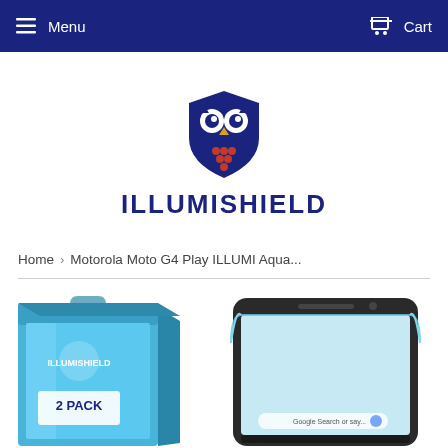Menu  Cart
[Figure (logo): IllumiShield owl logo with shield and text ILLUMISHIELD in dark blue]
Home › Motorola Moto G4 Play ILLUMI Aqua...
[Figure (photo): Product photo showing a blue 2-pack box on the left and a screen protector being applied to a Motorola Moto G4 Play smartphone on the right]